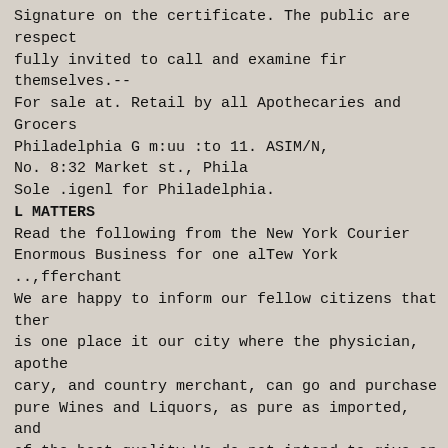Signature on the certificate. The public are respectfully invited to call and examine fir themselves.--For sale at. Retail by all Apothecaries and Grocers Philadelphia G m:uu :to 11. ASIM/N,
No. 8:32 Market st., Phila
Sole .igenl for Philadelphia.
L MATTERS
Read the following from the New York Courier Enormous Business for one alTew York ..,fferchant We are happy to inform our fellow citizens that ther is one place it our city where the physician, apothecary, and country merchant, can go and purchase pure Wines and Liquors, as pure as imported, and of the best quality We do not intend to give an elaborate description of this merchant's extensive business, although it will well relitty any stranger citizens to visit Unor.prto WoLrE's extensive ware house, Nos. 13, 20 and 22, Beaver et... and Nos. 17, 10 and 21, Marketlield st. liis stock of Schnapps on bandready for shipment could not have been less than thirty thousand cases; the Brandy, some ten thousand cases—Vintages of 1836 to 1350 ; and ten thousand cases of Madeira, Sherry and Port Wine. Scotch and Irish Whisky, Jamaica and St. Croix Bunt. some very old and equal to any in this country. lie also